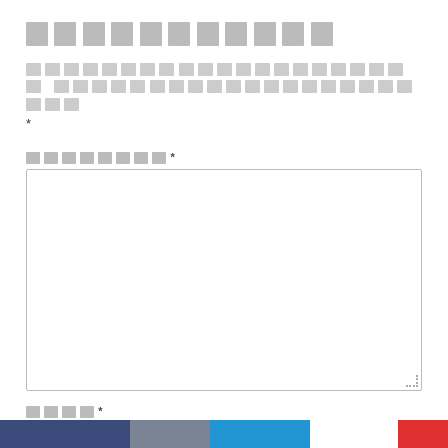[Redacted title text]
[Redacted description text] *
[Redacted field label] *
[Large textarea input field]
[Redacted field label] *
[Small textarea input field]